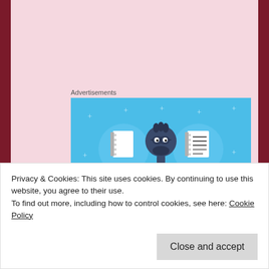Advertisements
[Figure (illustration): Blue background advertisement banner showing a cartoon illustration of a person holding a phone, flanked by two circular icons: one with a notebook/journal on the left and one with a lined notebook on the right. Small white plus/star decorations scattered in the background.]
The first in the series, The Perfect Escort, is out now and in the PROLIFIC Giveaway right now. The second in the series, The Perfect Date, is available for a low price of $0.99. The last in the series will be released shortly after the giveaway concludes. So, you can get started
Privacy & Cookies: This site uses cookies. By continuing to use this website, you agree to their use.
To find out more, including how to control cookies, see here: Cookie Policy
Close and accept